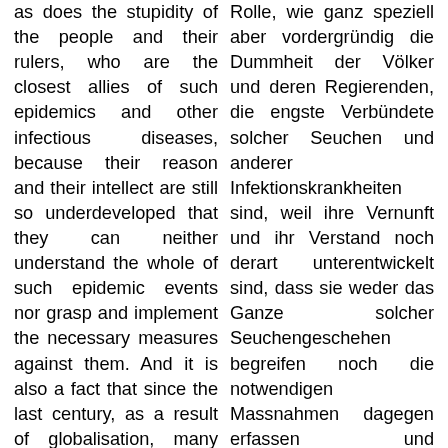as does the stupidity of the people and their rulers, who are the closest allies of such epidemics and other infectious diseases, because their reason and their intellect are still so underdeveloped that they can neither understand the whole of such epidemic events nor grasp and implement the necessary measures against them. And it is also a fact that since the last century, as a result of globalisation, many new diseases and epidemics have appeared all over the world, which earthly medicine has still
Rolle, wie ganz speziell aber vordergründig die Dummheit der Völker und deren Regierenden, die engste Verbündete solcher Seuchen und anderer Infektionskrankheiten sind, weil ihre Vernunft und ihr Verstand noch derart unterentwickelt sind, dass sie weder das Ganze solcher Seuchengeschehen begreifen noch die notwendigen Massnahmen dagegen erfassen und durchziehen können. Und Tatsache ist auch, dass seit dem letzten Jahrhundert infolge der Globalisierung in aller Welt viele neue